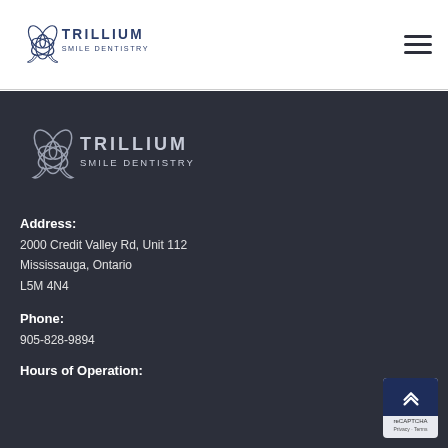[Figure (logo): Trillium Smile Dentistry logo in header — flower icon with 'TRILLIUM SMILE DENTISTRY' text in dark navy]
[Figure (other): Hamburger menu icon (three horizontal lines) in top right corner]
[Figure (logo): Trillium Smile Dentistry logo in footer — white/grey flower icon with 'TRILLIUM SMILE DENTISTRY' text on dark background]
Address:
2000 Credit Valley Rd, Unit 112
Mississauga, Ontario
L5M 4N4
Phone:
905-828-9894
Hours of Operation: